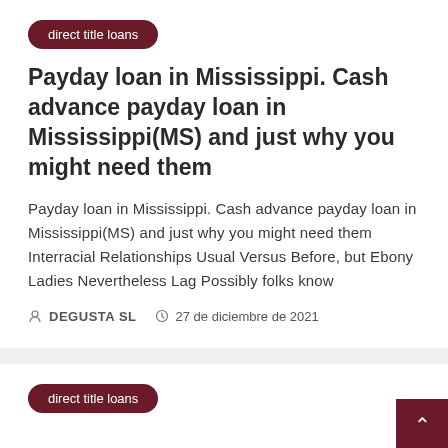direct title loans
Payday loan in Mississippi. Cash advance payday loan in Mississippi(MS) and just why you might need them
Payday loan in Mississippi. Cash advance payday loan in Mississippi(MS) and just why you might need them Interracial Relationships Usual Versus Before, but Ebony Ladies Nevertheless Lag Possibly folks know
DEGUSTA SL   27 de diciembre de 2021
direct title loans